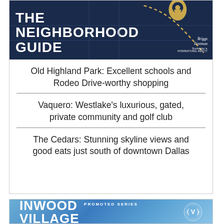[Figure (logo): The Neighborhood Guide banner with Briggs Freeman Sotheby's International Realty branding, dark navy background, large white bold text reading THE NEIGHBORHOOD GUIDE with a gold location pin icon and dashed route line]
Old Highland Park: Excellent schools and Rodeo Drive-worthy shopping
Vaquero: Westlake's luxurious, gated, private community and golf club
The Cedars: Stunning skyline views and good eats just south of downtown Dallas
[Figure (logo): Inwood Village promoted series banner with blue sky gradient background, large white bold text reading INWOOD VILLAGE, Inwood Village circular emblem/logo on right, PROMOTED SERIES label at top center]